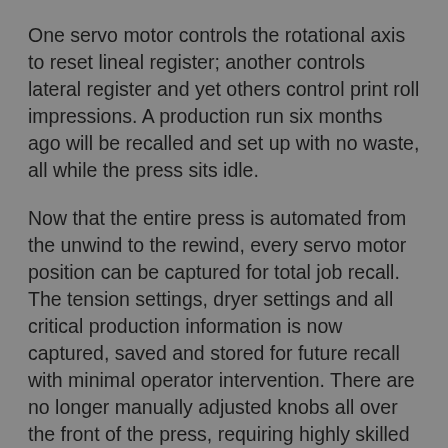One servo motor controls the rotational axis to reset lineal register; another controls lateral register and yet others control print roll impressions. A production run six months ago will be recalled and set up with no waste, all while the press sits idle.
Now that the entire press is automated from the unwind to the rewind, every servo motor position can be captured for total job recall. The tension settings, dryer settings and all critical production information is now captured, saved and stored for future recall with minimal operator intervention. There are no longer manually adjusted knobs all over the front of the press, requiring highly skilled operators to reproduce past jobs.
This level of automation produces repeatable and